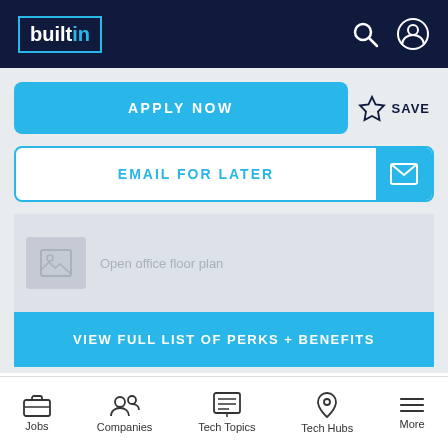builtin
APPLY NOW
SAVE
EMAIL FOR LATER
[Figure (photo): Open office floor plan placeholder image]
VIEW FULL LIST OF PERKS + BENEFITS
Subscribe to Built In to get tech articles + jobs in your inbox
Jobs | Companies | Tech Topics | Tech Hubs | More